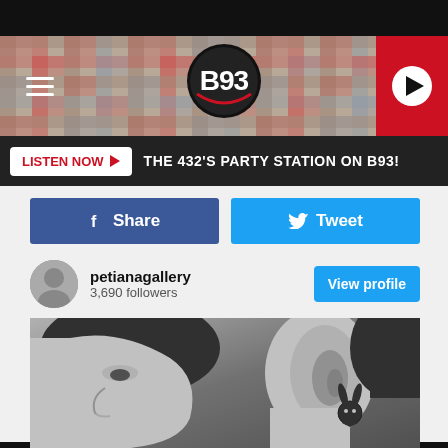[Figure (screenshot): B93 radio station mobile website screenshot showing header with plaid background and B93 logo, Listen Now button bar, Facebook Share and Tweet buttons, petianagallery Instagram profile with 3,690 followers and View profile button, and a black-and-white close-up photo of a man's face and neck showing a Playboy bunny tattoo behind the ear]
THE 432'S PARTY STATION ON B93!
petianagallery
3,690 followers